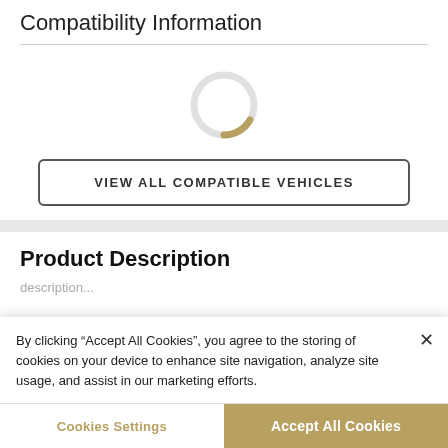Compatibility Information
[Figure (other): Loading spinner / circular progress indicator, mostly gray with a small gold arc at the bottom]
VIEW ALL COMPATIBLE VEHICLES
Product Description
By clicking “Accept All Cookies”, you agree to the storing of cookies on your device to enhance site navigation, analyze site usage, and assist in our marketing efforts.
Cookies Settings
Accept All Cookies